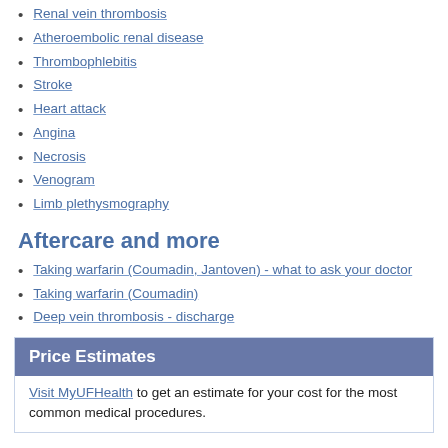Renal vein thrombosis
Atheroembolic renal disease
Thrombophlebitis
Stroke
Heart attack
Angina
Necrosis
Venogram
Limb plethysmography
Aftercare and more
Taking warfarin (Coumadin, Jantoven) - what to ask your doctor
Taking warfarin (Coumadin)
Deep vein thrombosis - discharge
Price Estimates
Visit MyUFHealth to get an estimate for your cost for the most common medical procedures.